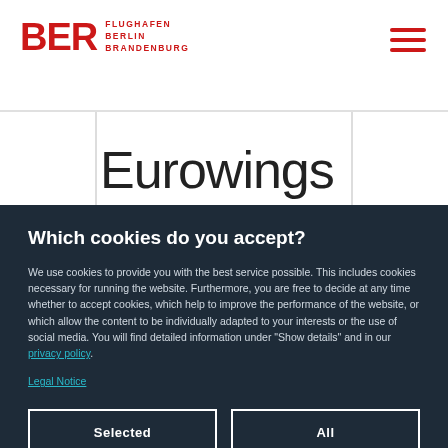BER FLUGHAFEN BERLIN BRANDENBURG
Eurowings
Which cookies do you accept?
We use cookies to provide you with the best service possible. This includes cookies necessary for running the website. Furthermore, you are free to decide at any time whether to accept cookies, which help to improve the performance of the website, or which allow the content to be individually adapted to your interests or the use of social media. You will find detailed information under "Show details" and in our privacy policy.
Legal Notice
Selected
All